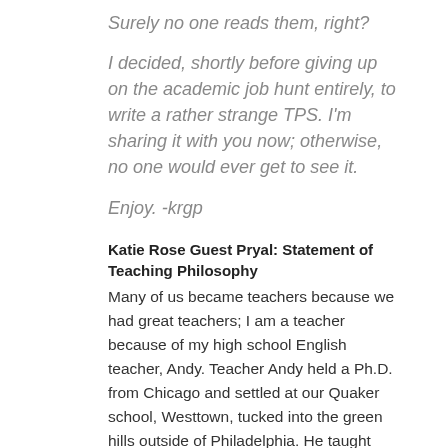Surely no one reads them, right?
I decided, shortly before giving up on the academic job hunt entirely, to write a rather strange TPS. I'm sharing it with you now; otherwise, no one would ever get to see it.
Enjoy. -krgp
Katie Rose Guest Pryal: Statement of Teaching Philosophy
Many of us became teachers because we had great teachers; I am a teacher because of my high school English teacher, Andy. Teacher Andy held a Ph.D. from Chicago and settled at our Quaker school, Westtown, tucked into the green hills outside of Philadelphia. He taught resistant teens about (opaque) T.S. Eliot and (dreary) Melville, (gruesome) Macbeth and (baffling) Hamlet. Although I pretended otherwise, I hung on his every word. In fact, his